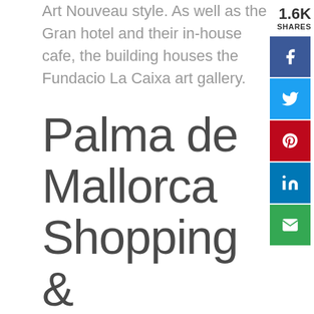Art Nouveau style. As well as the Gran hotel and their in-house cafe, the building houses the Fundacio La Caixa art gallery.
Palma de Mallorca Shopping &